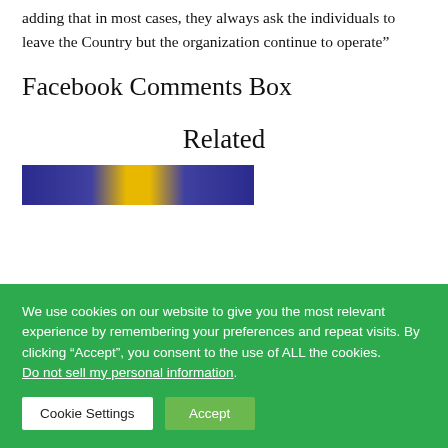adding that in most cases, they always ask the individuals to leave the Country but the organization continue to operate”
Facebook Comments Box
Related
[Figure (photo): Colorful decorative strip image with blue and gold/yellow pattern]
We use cookies on our website to give you the most relevant experience by remembering your preferences and repeat visits. By clicking “Accept”, you consent to the use of ALL the cookies. Do not sell my personal information.